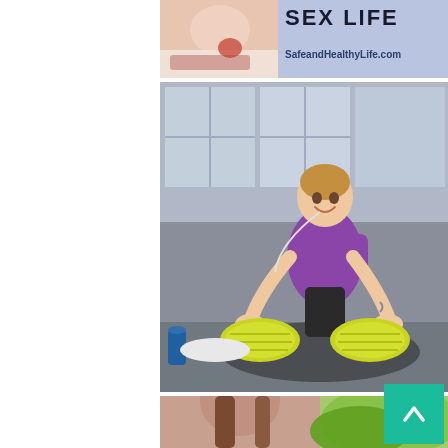[Figure (photo): Partial view of a book or website banner with text 'SEX LIFE' and 'SafeandHealthyLife.com' on a light blue/lavender background, with a partial photo of a person on the left side]
[Figure (photo): A fit woman in a purple athletic tank top sitting on a yoga mat in a gym, stretching forward and touching her feet with yellow-green sneakers soles visible, earphones in, smiling, with a water bottle and towel nearby]
[Figure (photo): Partial view of a woman with long hair outdoors with greenery in the background]